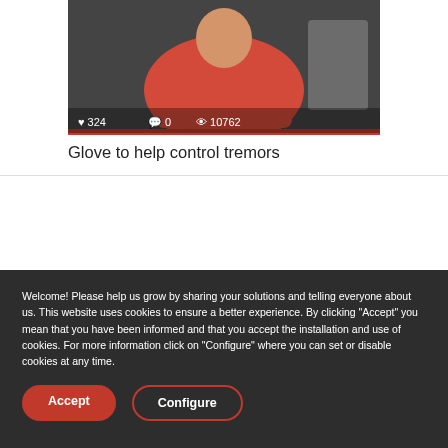[Figure (screenshot): Video thumbnail showing a person in a red shirt with stats: heart 324, comment 0, eye 10762, and a red bar at the bottom]
Glove to help control tremors
[Figure (logo): Nova Medical logo in gray]
Welcome! Please help us grow by sharing your solutions and telling everyone about us. This website uses cookies to ensure a better experience. By clicking "Accept" you mean that you have been informed and that you accept the installation and use of cookies. For more information click on "Configure" where you can set or disable cookies at any time.
Accept   Configure